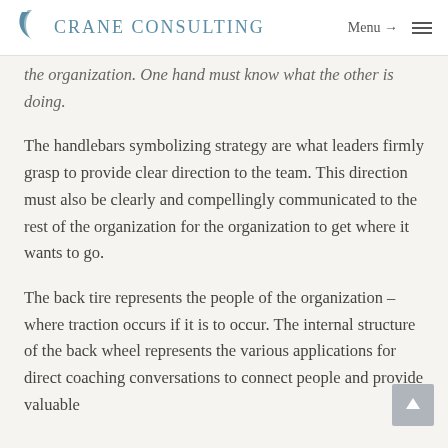Crane Consulting — Menu →
the organization. One hand must know what the other is doing.
The handlebars symbolizing strategy are what leaders firmly grasp to provide clear direction to the team. This direction must also be clearly and compellingly communicated to the rest of the organization for the organization to get where it wants to go.
The back tire represents the people of the organization – where traction occurs if it is to occur. The internal structure of the back wheel represents the various applications for direct coaching conversations to connect people and provide valuable information from the rest of the organization.